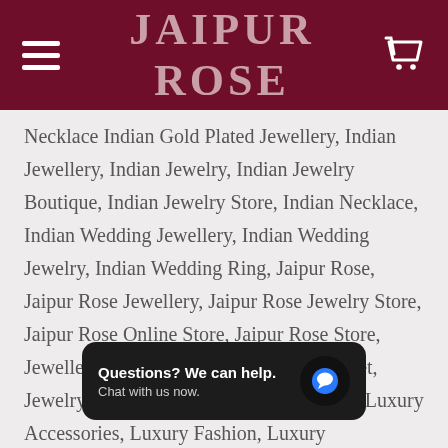JAIPUR ROSE
Necklace Indian Gold Plated Jewellery, Indian Jewellery, Indian Jewelry, Indian Jewelry Boutique, Indian Jewelry Store, Indian Necklace, Indian Wedding Jewellery, Indian Wedding Jewelry, Indian Wedding Ring, Jaipur Rose, Jaipur Rose Jewellery, Jaipur Rose Jewelry Store, Jaipur Rose Online Store, Jaipur Rose Store, Jewellery, Jewellery Designs, Jewellery Set, Jewelry, Jewelry Boutique, Jewelry Store, Luxury Accessories, Luxury Fashion, Luxury Gift, Jewellery, Luxury Jewellery, s Day Gift, Necklace, Necklace Design, Necklace Set,
Questions? We can help. Chat with us now.